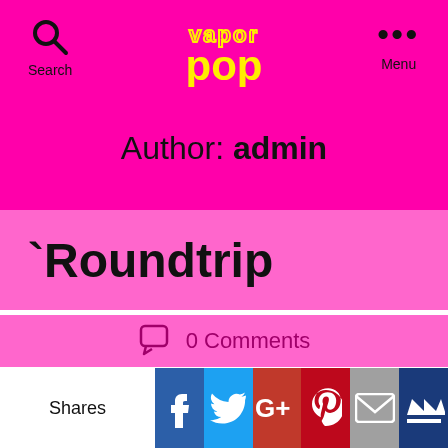vapor pop — Search / Menu
Author: admin
`Roundtrip
0 Comments
Shares